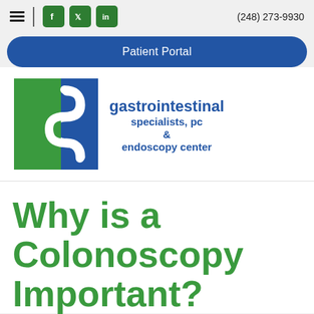(248) 273-9930
Patient Portal
[Figure (logo): Gastrointestinal Specialists PC & Endoscopy Center logo with green and blue stylized intestine graphic and text]
Why is a Colonoscopy Important?